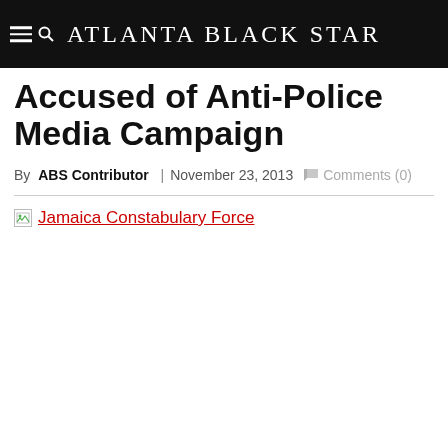Atlanta Black Star
Accused of Anti-Police Media Campaign
By ABS Contributor | November 23, 2013  Comments (0)
[Figure (other): Broken image placeholder with link text 'Jamaica Constabulary Force']